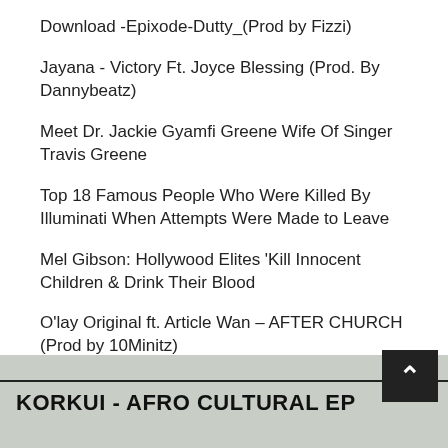Download -Epixode-Dutty_(Prod by Fizzi)
Jayana - Victory Ft. Joyce Blessing (Prod. By Dannybeatz)
Meet Dr. Jackie Gyamfi Greene Wife Of Singer Travis Greene
Top 18 Famous People Who Were Killed By Illuminati When Attempts Were Made to Leave
Mel Gibson: Hollywood Elites 'Kill Innocent Children & Drink Their Blood
O'lay Original ft. Article Wan – AFTER CHURCH (Prod by 10Minitz)
Five pictures of Amy Newman looking her best without makeup
Actresses Moesha Buduong and Salma Mumin fight over butt surgery, fakeness
KORKUI - AFRO CULTURAL EP